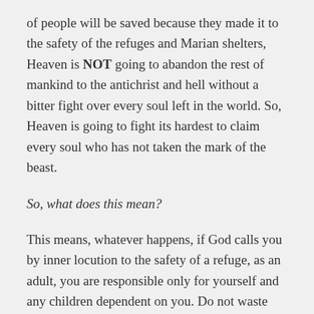of people will be saved because they made it to the safety of the refuges and Marian shelters, Heaven is NOT going to abandon the rest of mankind to the antichrist and hell without a bitter fight over every soul left in the world. So, Heaven is going to fight its hardest to claim every soul who has not taken the mark of the beast.
So, what does this mean?
This means, whatever happens, if God calls you by inner locution to the safety of a refuge, as an adult, you are responsible only for yourself and any children dependent on you. Do not waste any of your allotted 20 minutes engaging in confusion, indecision, or arguments with any person. You just do what you have to do to take care of your children and to get you and your